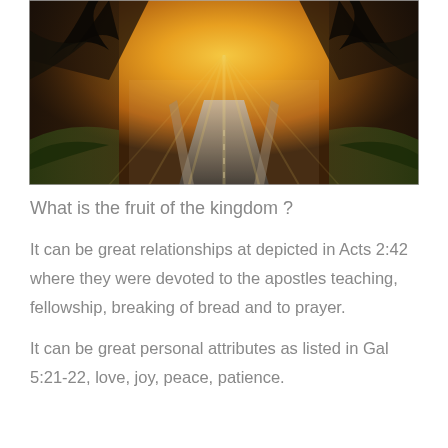[Figure (photo): A misty forest road with sunlight rays streaming through bare trees, creating a dramatic golden glow at the end of the road.]
What is the fruit of the kingdom ?
It can be great relationships at depicted in Acts 2:42 where they were devoted to the apostles teaching, fellowship, breaking of bread and to prayer.
It can be great personal attributes as listed in Gal 5:21-22, love, joy, peace, patience.